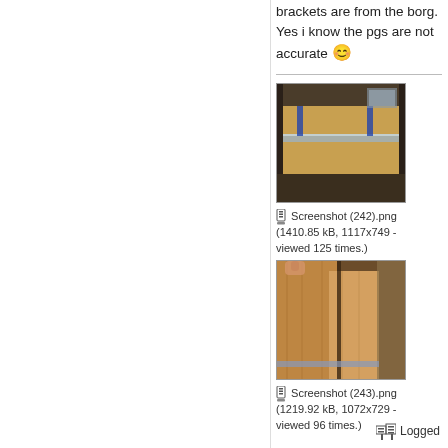brackets are from the borg. Yes i know the pgs are not accurate 😊
[Figure (photo): Photo of plywood/OSB board with metal rail or bracket attached, stored in what appears to be a garage or workshop setting.]
Screenshot (242).png (1410.85 kB, 1117x749 - viewed 125 times.)
[Figure (photo): Close-up photo of wooden boards or timber stacked together, showing grain and cut ends.]
Screenshot (243).png (1219.92 kB, 1072x729 - viewed 96 times.)
Logged